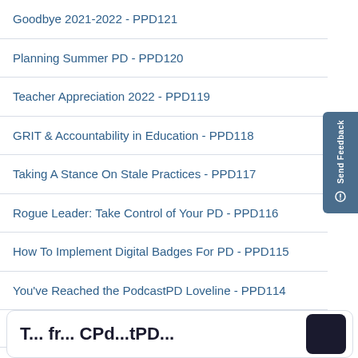Goodbye 2021-2022 - PPD121
Planning Summer PD - PPD120
Teacher Appreciation 2022 - PPD119
GRIT & Accountability in Education - PPD118
Taking A Stance On Stale Practices - PPD117
Rogue Leader: Take Control of Your PD - PPD116
How To Implement Digital Badges For PD - PPD115
You've Reached the PodcastPD Loveline - PPD114
See all →
[Figure (other): Bottom card with bold text partially visible, dark logo icon on right]